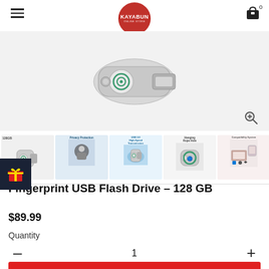[Figure (logo): KAYABUN ONLINE STORE red circular logo]
[Figure (photo): Fingerprint USB Flash Drive main product image showing silver USB drive with fingerprint sensor]
[Figure (photo): Row of 5 product thumbnail images: USB drive, privacy protection, high-speed transmission, hanging rope hole, compatibility system]
Fingerprint USB Flash Drive - 128 GB
$89.99
Quantity
1